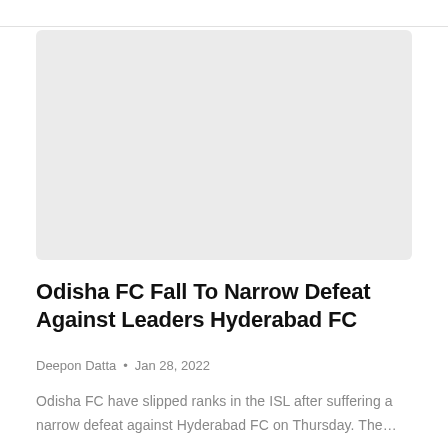[Figure (photo): Placeholder image area — light grey rectangle representing an article image thumbnail]
Odisha FC Fall To Narrow Defeat Against Leaders Hyderabad FC
Deepon Datta • Jan 28, 2022
Odisha FC have slipped ranks in the ISL after suffering a narrow defeat against Hyderabad FC on Thursday. The…